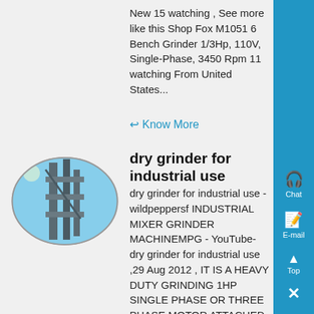New 15 watching , See more like this Shop Fox M1051 6 Bench Grinder 1/3Hp, 110V, Single-Phase, 3450 Rpm 11 watching From United States...
Know More
[Figure (photo): Oval-framed photo of industrial metal structure against blue sky]
dry grinder for industrial use
dry grinder for industrial use - wildpeppersf INDUSTRIAL MIXER GRINDER MACHINEMPG - YouTube- dry grinder for industrial use ,29 Aug 2012 , IT IS A HEAVY DUTY GRINDING 1HP SINGLE PHASE OR THREE PHASE MOTOR ATTACHED USEFUL IN GRINDING WET AND DRY MASALA ESPECIALLY USED FOR COMMERCIAL PURPOSE SUCH AS STAR,Industrial Food Grinders - Alibaba1498 Results , Industrial Food Grinders,...